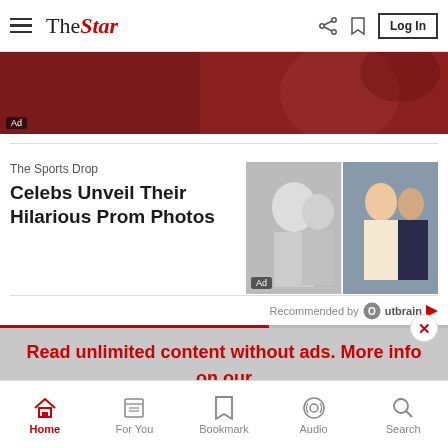The Star — Log In
[Figure (photo): Ad banner at the top showing a person in a red sports jersey]
The Sports Drop
Celebs Unveil Their Hilarious Prom Photos
[Figure (photo): Two prom photos side by side: left is a black-and-white photo of a couple in formal wear, right is a color photo of a woman in a cream dress with a man in a tuxedo. Ad label visible.]
Recommended by Outbrain
Read unlimited content without ads. More info on our Premium Plan. >
Home | For You | Bookmark | Audio | Search